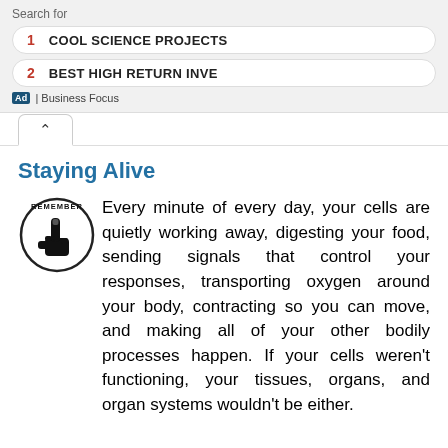Search for
1  COOL SCIENCE PROJECTS
2  BEST HIGH RETURN INVE
Ad | Business Focus
Staying Alive
[Figure (illustration): A circular 'Remember' icon showing a pointing hand/finger with the word REMEMBER around the top of the circle. Black and white illustration.]
Every minute of every day, your cells are quietly working away, digesting your food, sending signals that control your responses, transporting oxygen around your body, contracting so you can move, and making all of your other bodily processes happen. If your cells weren't functioning, your tissues, organs, and organ systems wouldn't be either.